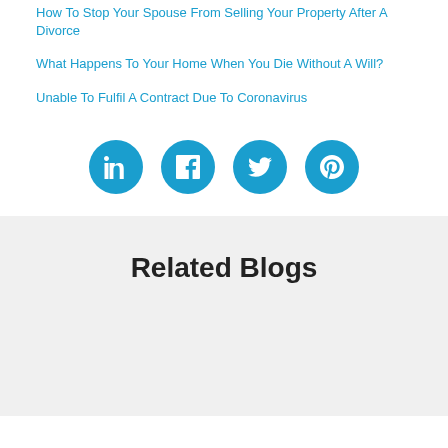How To Stop Your Spouse From Selling Your Property After A Divorce
What Happens To Your Home When You Die Without A Will?
Unable To Fulfil A Contract Due To Coronavirus
[Figure (infographic): Four circular social media share buttons: LinkedIn, Facebook, Twitter, Pinterest]
Related Blogs